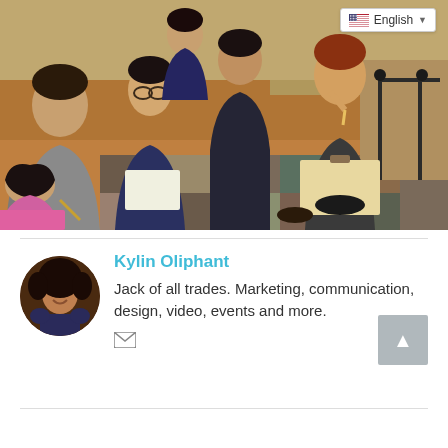[Figure (photo): Students sitting on a patterned rug on a classroom floor, holding notebooks and pencils, appearing engaged in listening or thinking. Some students wear navy hoodies. A blue basket and classroom furniture are visible in the background. An English language selector dropdown is overlaid in the top-right corner.]
Kylin Oliphant
Jack of all trades. Marketing, communication, design, video, events and more.